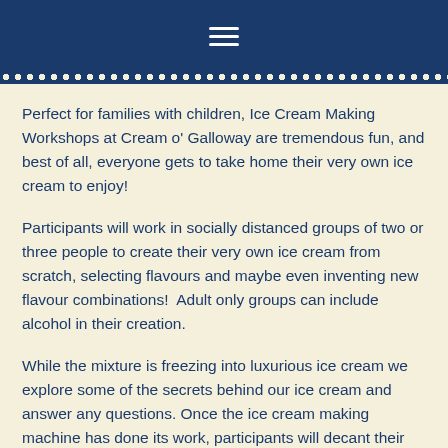≡
Perfect for families with children, Ice Cream Making Workshops at Cream o' Galloway are tremendous fun, and best of all, everyone gets to take home their very own ice cream to enjoy!
Participants will work in socially distanced groups of two or three people to create their very own ice cream from scratch, selecting flavours and maybe even inventing new flavour combinations!  Adult only groups can include alcohol in their creation.
While the mixture is freezing into luxurious ice cream we explore some of the secrets behind our ice cream and answer any questions. Once the ice cream making machine has done its work, participants will decant their ice cream into a tub which can then be taken home and